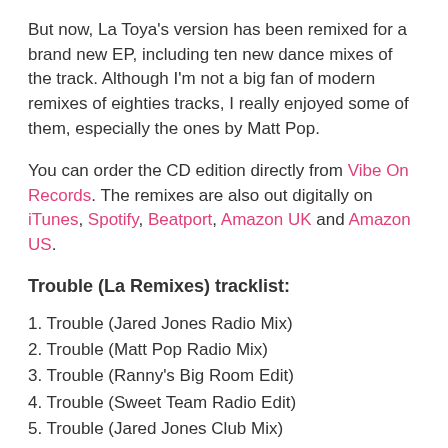But now, La Toya's version has been remixed for a brand new EP, including ten new dance mixes of the track. Although I'm not a big fan of modern remixes of eighties tracks, I really enjoyed some of them, especially the ones by Matt Pop.
You can order the CD edition directly from Vibe On Records. The remixes are also out digitally on iTunes, Spotify, Beatport, Amazon UK and Amazon US.
Trouble (La Remixes) tracklist:
1. Trouble (Jared Jones Radio Mix)
2. Trouble (Matt Pop Radio Mix)
3. Trouble (Ranny's Big Room Edit)
4. Trouble (Sweet Team Radio Edit)
5. Trouble (Jared Jones Club Mix)
6. Trouble (Matt Pop Club Mix)
7. Trouble (Ranny's Big Room Mix)
8. Trouble (Sweet Team Mix)
9. Trouble (Dr. Brooks Future RetroFunk)